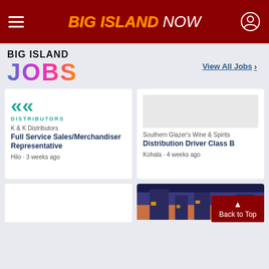BIG ISLAND NOW
[Figure (logo): Big Island Jobs logo with colorful gradient text]
View All Jobs >
[Figure (logo): K&K Distributors logo with teal double-chevron arrows and DISTRIBUTORS text]
K & K Distributors
Full Service Sales/Merchandiser Representative
Hilo · 3 weeks ago
Southern Glazer's Wine & Spirits
Distribution Driver Class B
Kohala · 4 weeks ago
[Figure (photo): Photo of a building exterior at dusk/evening with warm lighting]
Back to Top